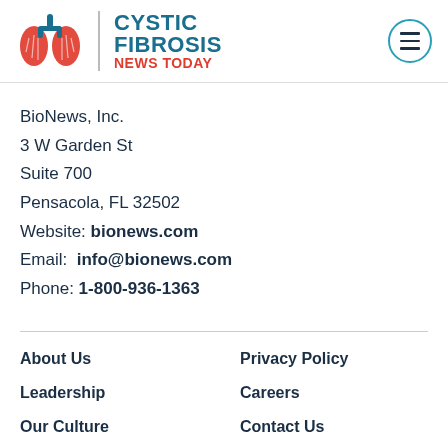[Figure (logo): Cystic Fibrosis News Today logo with lung illustration]
BioNews, Inc.
3 W Garden St
Suite 700
Pensacola, FL 32502
Website: bionews.com
Email: info@bionews.com
Phone: 1-800-936-1363
About Us
Privacy Policy
Leadership
Careers
Our Culture
Contact Us
Corrections Policy
Terms of Use